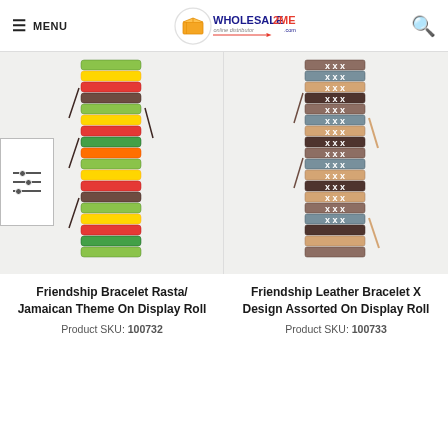MENU | Wholesale2me online distributor .com | Search
[Figure (photo): Stack of Friendship Bracelet Rasta/Jamaican Theme bracelets on a display roll, colorful woven bands]
[Figure (photo): Stack of Friendship Leather Bracelet X Design Assorted bracelets on a display roll, brown/grey leather bands with X pattern]
Friendship Bracelet Rasta/ Jamaican Theme On Display Roll
Product SKU: 100732
Friendship Leather Bracelet X Design Assorted On Display Roll
Product SKU: 100733